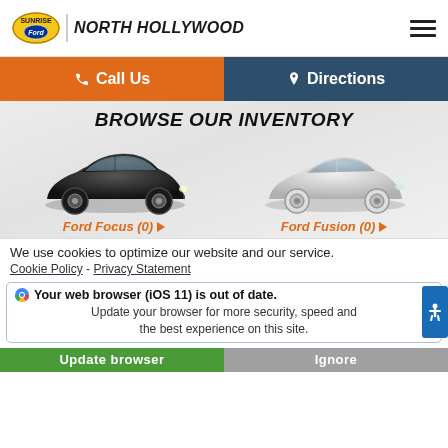NORTH HOLLYWOOD — Sunrise Ford
Call Us | Directions
BROWSE OUR INVENTORY
[Figure (photo): Black Ford Focus hatchback vehicle image]
Ford Focus (0)
[Figure (photo): White/silver Ford Fusion sedan vehicle image]
Ford Fusion (0)
We use cookies to optimize our website and our service.
Cookie Policy - Privacy Statement
Your web browser (iOS 11) is out of date. Update your browser for more security, speed and the best experience on this site.
Update browser